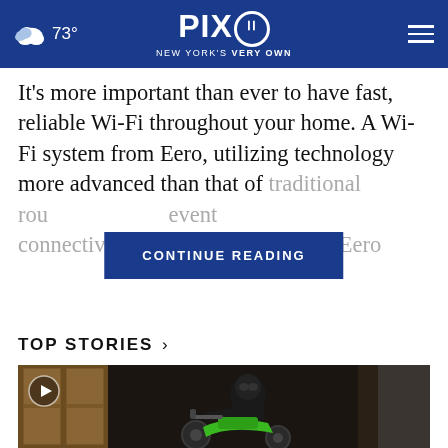73° PIX11 NEW YORK'S VERY OWN
It's more important than ever to have fast, reliable Wi-Fi throughout your home. A Wi-Fi system from Eero, utilizing technology more advanced than that of traditional rou... event connectivity is... The Eero
CONTINUE READING
TOP STORIES ›
[Figure (photo): A person wearing a black balaclava/mask riding a green motorcycle in an alleyway with wooden doors and a building in the background. A play button icon is visible in the top-left corner.]